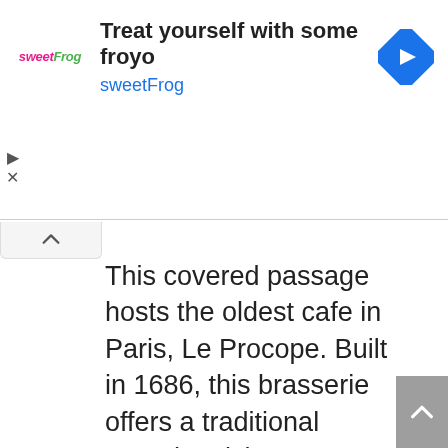[Figure (screenshot): sweetFrog advertisement banner with logo, text 'Treat yourself with some froyo / sweetFrog', and a blue navigation/directions icon on the right]
This covered passage hosts the oldest cafe in Paris, Le Procope. Built in 1686, this brasserie offers a traditional French cuisine menu featuring oysters, various other seafood choices, fish, foie gras, beef, coq au vin, and some mouth-watering desserts. Here’s their website. Take a look at the menu and at their working hours. If you take my example and start your tour from here, you may not be able to eat anything, because the restaurant opens at 12pm. Nonetheless,